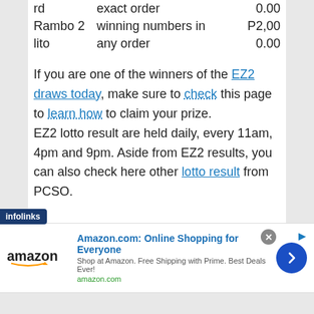| rd | exact order | 0.00 |
| Rambo 2 winning numbers in |  | P2,00 |
| lito | any order | 0.00 |
If you are one of the winners of the EZ2 draws today, make sure to check this page to learn how to claim your prize. EZ2 lotto result are held daily, every 11am, 4pm and 9pm. Aside from EZ2 results, you can also check here other lotto result from PCSO.
[Figure (other): Infolinks advertisement badge and Amazon.com ad banner with logo, title 'Amazon.com: Online Shopping for Everyone', subtitle 'Shop at Amazon. Free Shipping with Prime. Best Deals Ever!', amazon.com URL, and a blue circular arrow button.]